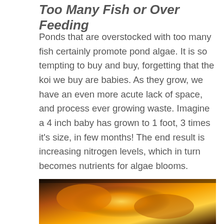Too Many Fish or Over Feeding
Ponds that are overstocked with too many fish certainly promote pond algae. It is so tempting to buy and buy, forgetting that the koi we buy are babies. As they grow, we have an even more acute lack of space, and process ever growing waste. Imagine a 4 inch baby has grown to 1 foot, 3 times it’s size, in few months! The end result is increasing nitrogen levels, which in turn becomes nutrients for algae blooms.
[Figure (photo): Close-up photograph of koi fish, showing orange and yellow coloring with dark accents, partially submerged.]